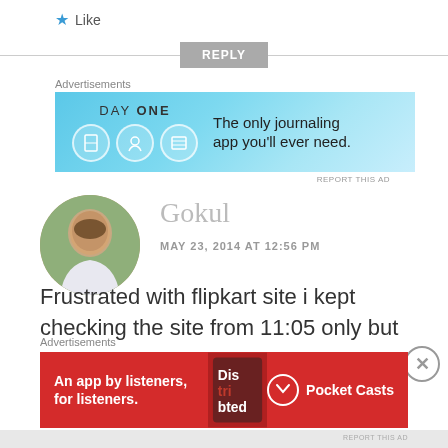★ Like
REPLY
Advertisements
[Figure (infographic): Day One journaling app advertisement banner — blue background with app icons and text 'The only journaling app you'll ever need.']
REPORT THIS AD
Gokul
MAY 23, 2014 AT 12:56 PM
Frustrated with flipkart site i kept checking the site from 11:05 only but
Advertisements
[Figure (infographic): Pocket Casts app advertisement — red background with text 'An app by listeners, for listeners.' and Pocket Casts logo]
REPORT THIS AD